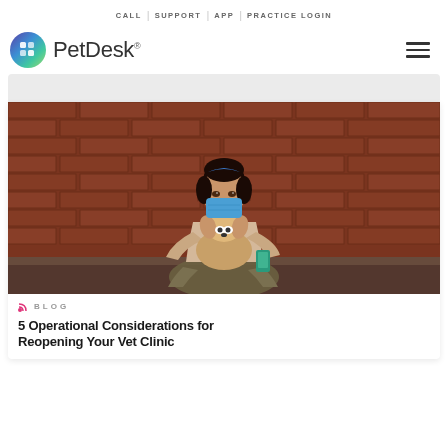CALL | SUPPORT | APP | PRACTICE LOGIN
[Figure (logo): PetDesk logo with colorful circular app icon and PetDesk wordmark, hamburger menu icon on right]
[Figure (photo): Woman wearing blue face mask, holding a small brown and white dog, sitting against a red brick wall, holding a phone]
BLOG
5 Operational Considerations for Reopening Your Vet Clinic